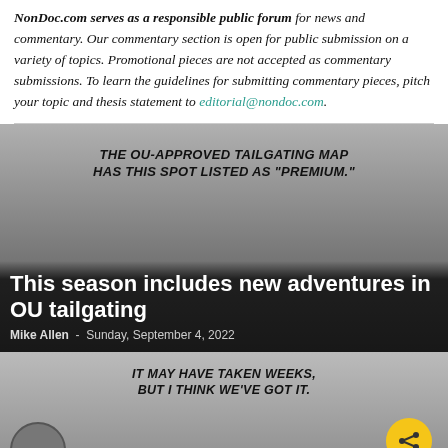NonDoc.com serves as a responsible public forum for news and commentary. Our commentary section is open for public submission on a variety of topics. Promotional pieces are not accepted as commentary submissions. To learn the guidelines for submitting commentary pieces, pitch your topic and thesis statement to editorial@nondoc.com.
[Figure (illustration): Cartoon illustration with two characters and a speech bubble reading 'THE OU-APPROVED TAILGATING MAP HAS THIS SPOT LISTED AS "PREMIUM."' on a dark gradient background, with article title and author overlaid at the bottom.]
This season includes new adventures in OU tailgating
Mike Allen  -  Sunday, September 4, 2022
[Figure (illustration): Cartoon illustration with speech bubble reading 'IT MAY HAVE TAKEN WEEKS, BUT I THINK WE'VE GOT IT.' A ballot title box and official seal are at the bottom. A yellow share button is in the bottom right.]